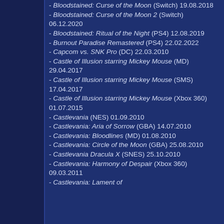- Bloodstained: Curse of the Moon (Switch) 19.08.2018
- Bloodstained: Curse of the Moon 2 (Switch) 06.12.2020
- Bloodstained: Ritual of the Night (PS4) 12.08.2019
- Burnout Paradise Remastered (PS4) 22.02.2022
- Capcom vs. SNK Pro (DC) 22.03.2010
- Castle of Illusion starring Mickey Mouse (MD) 29.04.2017
- Castle of Illusion starring Mickey Mouse (SMS) 17.04.2017
- Castle of Illusion starring Mickey Mouse (Xbox 360) 01.07.2015
- Castlevania (NES) 01.09.2010
- Castlevania: Aria of Sorrow (GBA) 14.07.2010
- Castlevania: Bloodlines (MD) 01.08.2010
- Castlevania: Circle of the Moon (GBA) 25.08.2010
- Castlevania Dracula X (SNES) 25.10.2010
- Castlevania: Harmony of Despair (Xbox 360) 09.03.2011
- Castlevania: Lament of